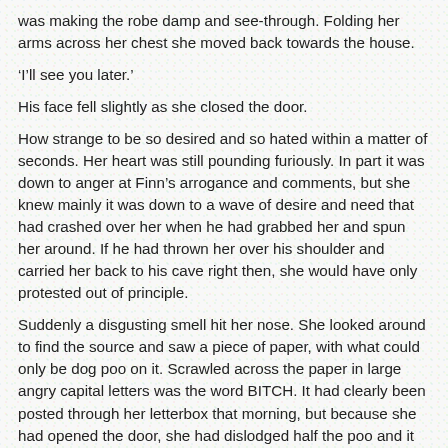was making the robe damp and see-through. Folding her arms across her chest she moved back towards the house.
‘I’ll see you later.’
His face fell slightly as she closed the door.
How strange to be so desired and so hated within a matter of seconds. Her heart was still pounding furiously. In part it was down to anger at Finn’s arrogance and comments, but she knew mainly it was down to a wave of desire and need that had crashed over her when he had grabbed her and spun her around. If he had thrown her over his shoulder and carried her back to his cave right then, she would have only protested out of principle.
Suddenly a disgusting smell hit her nose. She looked around to find the source and saw a piece of paper, with what could only be dog poo on it. Scrawled across the paper in large angry capital letters was the word BITCH. It had clearly been posted through her letterbox that morning, but because she had opened the door, she had dislodged half the poo and it had mushed into the carpet and underneath the door.
Retribution for Mrs Kemblewick was swift indeed. She